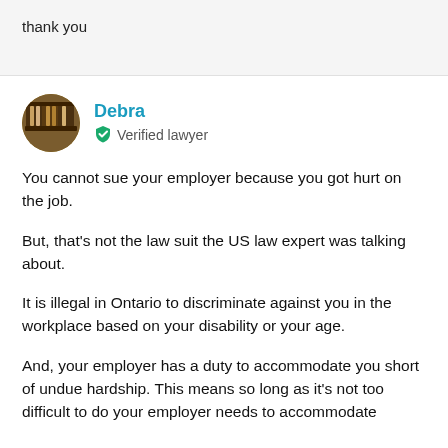thank you
Debra
Verified lawyer
You cannot sue your employer because you got hurt on the job.
But, that's not the law suit the US law expert was talking about.
It is illegal in Ontario to discriminate against you in the workplace based on your disability or your age.
And, your employer has a duty to accommodate you short of undue hardship. This means so long as it's not too difficult to do your employer needs to accommodate